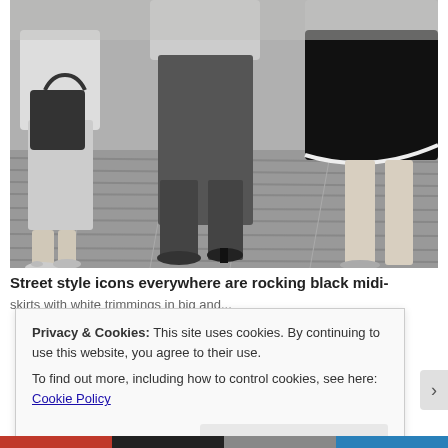[Figure (photo): Black and white fashion photo showing three women from the waist down, wearing different skirts and shoes, standing on a wooden floor. One carries a dark handbag.]
Street style icons everywhere are rocking black midi-skirts with white trimmings in big and...
Privacy & Cookies: This site uses cookies. By continuing to use this website, you agree to their use.
To find out more, including how to control cookies, see here: Cookie Policy
Close and accept